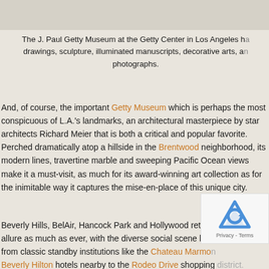The J. Paul Getty Museum at the Getty Center in Los Angeles has drawings, sculpture, illuminated manuscripts, decorative arts, and photographs.
And, of course, the important Getty Museum which is perhaps the most conspicuous of L.A.'s landmarks, an architectural masterpiece by star architects Richard Meier that is both a critical and popular favorite.  Perched dramatically atop a hillside in the Brentwood neighborhood, its modern lines, travertine marble and sweeping Pacific Ocean views make it a must-visit, as much for its award-winning art collection as for the inimitable way it captures the mise-en-place of this unique city.
Beverly Hills, BelAir, Hancock Park and Hollywood retain their allure as much as ever, with the diverse social scene benefiting from classic standby institutions like the Chateau Marmont, Beverly Hilton hotels nearby to the Rodeo Drive shopping district.